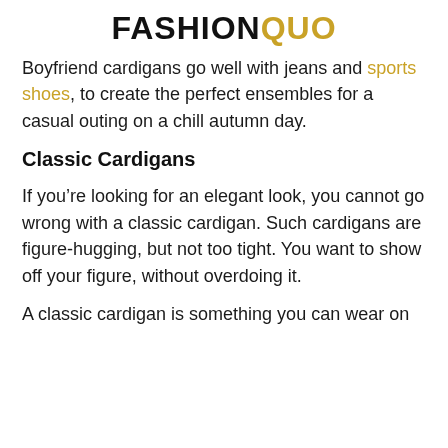FASHIONQUO
Boyfriend cardigans go well with jeans and sports shoes, to create the perfect ensembles for a casual outing on a chill autumn day.
Classic Cardigans
If you’re looking for an elegant look, you cannot go wrong with a classic cardigan. Such cardigans are figure-hugging, but not too tight. You want to show off your figure, without overdoing it.
A classic cardigan is something you can wear on